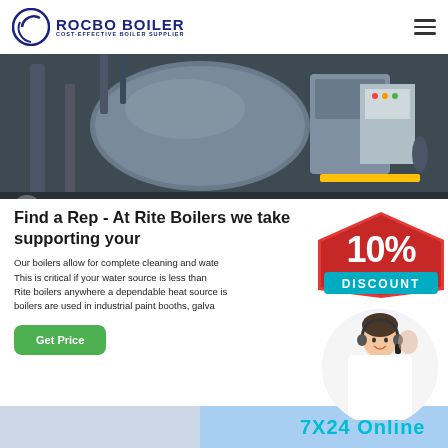[Figure (logo): Rocbo Boiler logo with crescent circle and company name]
[Figure (photo): Industrial boiler machinery and equipment in a factory setting]
Find a Rep - At Rite Boilers we take supporting your
Our boilers allow for complete cleaning and wate... This is critical if your water source is less than... Rite boilers anywhere a dependable heat source is... boilers are used in industrial paint booths, galva...
[Figure (infographic): 10% DISCOUNT badge in red and teal colors]
[Figure (photo): Customer service representative with headset smiling]
Get Price
[Figure (photo): Bottom bar with 7X24 Online text in teal on blue background]